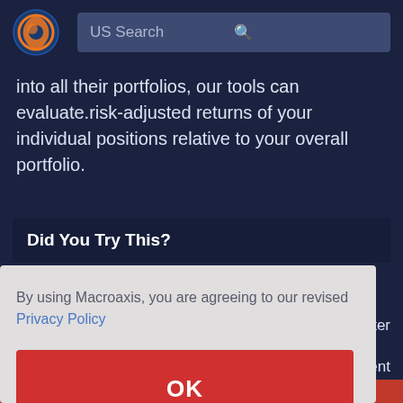[Figure (logo): Macroaxis logo — circular icon with orange and blue design]
US Search
into all their portfolios, our tools can evaluate.risk-adjusted returns of your individual positions relative to your overall portfolio.
Did You Try This?
By using Macroaxis, you are agreeing to our revised Privacy Policy
OK